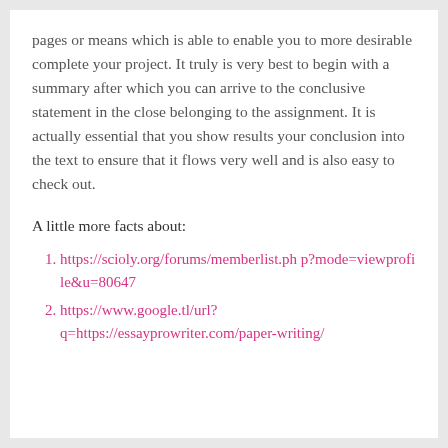pages or means which is able to enable you to more desirable complete your project. It truly is very best to begin with a summary after which you can arrive to the conclusive statement in the close belonging to the assignment. It is actually essential that you show results your conclusion into the text to ensure that it flows very well and is also easy to check out.
A little more facts about:
https://scioly.org/forums/memberlist.php?mode=viewprofile&u=80647
https://www.google.tl/url?q=https://essayprowriter.com/paper-writing/